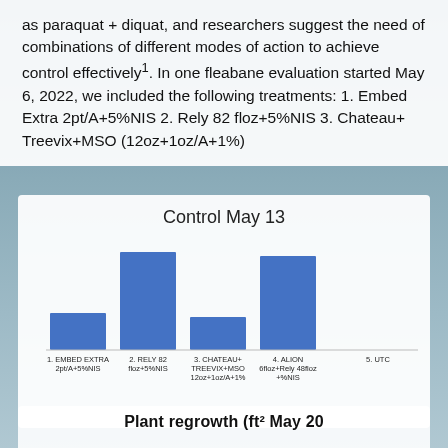as paraquat + diquat, and researchers suggest the need of combinations of different modes of action to achieve control effectively¹. In one fleabane evaluation started May 6, 2022, we included the following treatments: 1. Embed Extra 2pt/A+5%NIS 2. Rely 82 floz+5%NIS 3. Chateau+ Treevix+MSO (12oz+1oz/A+1%)
[Figure (bar-chart): Control May 13]
Plant regrowth (ft² May 20